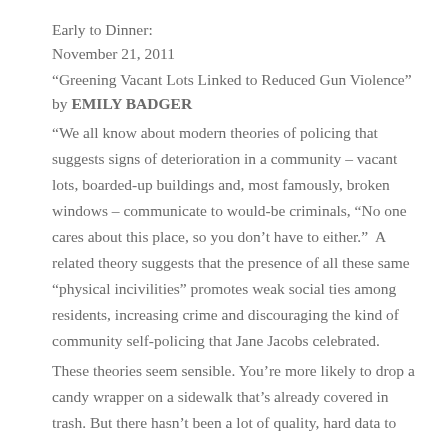Early to Dinner:
November 21, 2011
“Greening Vacant Lots Linked to Reduced Gun Violence” by EMILY BADGER
“We all know about modern theories of policing that suggests signs of deterioration in a community – vacant lots, boarded-up buildings and, most famously, broken windows – communicate to would-be criminals, “No one cares about this place, so you don’t have to either.”  A related theory suggests that the presence of all these same “physical incivilities” promotes weak social ties among residents, increasing crime and discouraging the kind of community self-policing that Jane Jacobs celebrated.
These theories seem sensible. You’re more likely to drop a candy wrapper on a sidewalk that’s already covered in trash. But there hasn’t been a lot of quality, hard data to